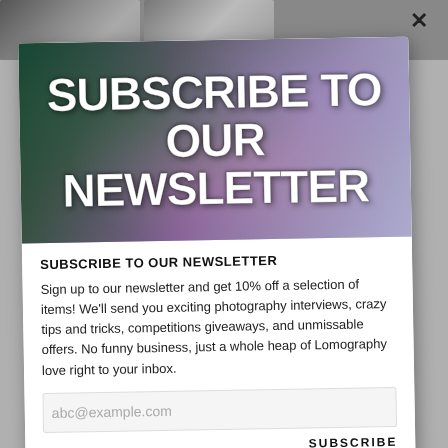[Figure (photo): Background photos peeking at top of page behind modal]
[Figure (photo): Hero image of a person's face surrounded by purple/lilac flowers with bold white text overlay reading SUBSCRIBE TO OUR NEWSLETTER]
SUBSCRIBE TO OUR NEWSLETTER
Sign up to our newsletter and get 10% off a selection of items! We'll send you exciting photography interviews, crazy tips and tricks, competitions giveaways, and unmissable offers. No funny business, just a whole heap of Lomography love right to your inbox.
abc@example.com
SUBSCRIBE